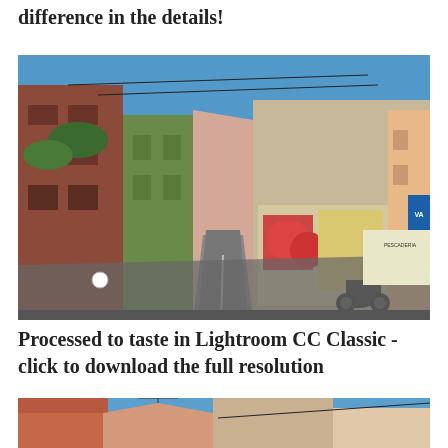difference in the details!
[Figure (photo): Street scene with colorful buildings, graffiti murals, parked motorcycle/scooter, and a road perspective view in what appears to be a Spanish city neighborhood with blue sky above.]
Processed to taste in Lightroom CC Classic - click to download the full resolution
[Figure (photo): Partial view of another street scene with colorful buildings and rooftops, similar Spanish city neighborhood, partially cropped at bottom of page.]